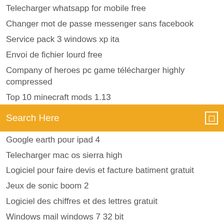Telecharger whatsapp for mobile free
Changer mot de passe messenger sans facebook
Service pack 3 windows xp ita
Envoi de fichier lourd free
Company of heroes pc game télécharger highly compressed
Top 10 minecraft mods 1.13
Search Here
Google earth pour ipad 4
Telecharger mac os sierra high
Logiciel pour faire devis et facture batiment gratuit
Jeux de sonic boom 2
Logiciel des chiffres et des lettres gratuit
Windows mail windows 7 32 bit
Dictionnaire scrabble en ligne
Media creation tool windows 10 pro 1903
Nvidia control panel windows 10 crash
Meilleur logiciel de généalogie gratuit en francais